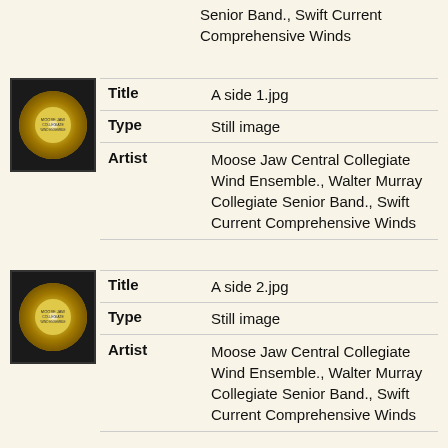Senior Band., Swift Current Comprehensive Winds
| Field | Value |
| --- | --- |
| Title | A side 1.jpg |
| Type | Still image |
| Artist | Moose Jaw Central Collegiate Wind Ensemble., Walter Murray Collegiate Senior Band., Swift Current Comprehensive Winds |
| Field | Value |
| --- | --- |
| Title | A side 2.jpg |
| Type | Still image |
| Artist | Moose Jaw Central Collegiate Wind Ensemble., Walter Murray Collegiate Senior Band., Swift Current Comprehensive Winds |